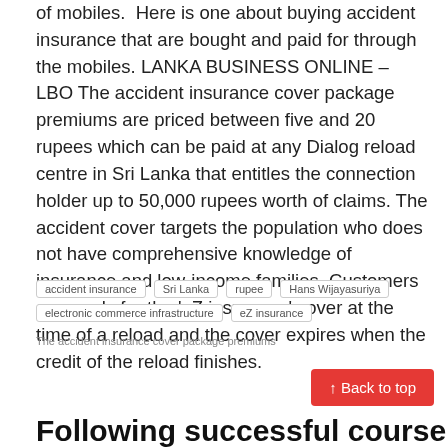of mobiles. Here is one about buying accident insurance that are bought and paid for through the mobiles. LANKA BUSINESS ONLINE – LBO The accident insurance cover package premiums are priced between five and 20 rupees which can be paid at any Dialog reload centre in Sri Lanka that entitles the connection holder up to 50,000 rupees worth of claims. The accident cover targets the population who does not have comprehensive knowledge of insurance and low-income families. Customers can apply for the 'eZ insurance' cover at the time of a reload and the cover expires when the credit of the reload finishes.
accident insurance
Sri Lanka
rupee
Hans Wijayasuriya
electronic commerce infrastructure
eZ insurance
The accident insurance cover package premiums
↑ Back to top
Following successful course, LIRNEasia